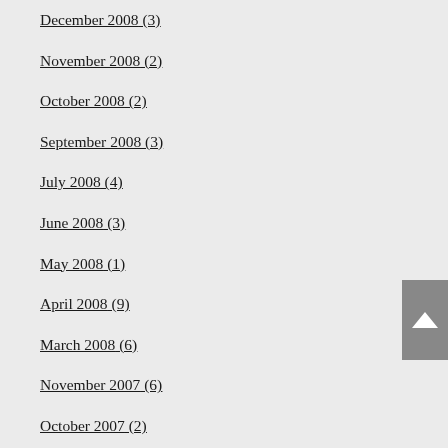December 2008 (3)
November 2008 (2)
October 2008 (2)
September 2008 (3)
July 2008 (4)
June 2008 (3)
May 2008 (1)
April 2008 (9)
March 2008 (6)
November 2007 (6)
October 2007 (2)
March 2007 (1)
February 2007 (2)